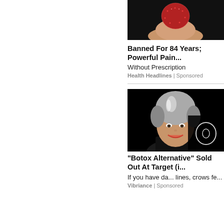[Figure (photo): Close-up photo of a red gummy candy/supplement being held between two fingers against a dark background]
Banned For 84 Years; Powerful Pain...
Without Prescription
Health Headlines | Sponsored
[Figure (photo): Portrait photo of a middle-aged woman with short gray-silver hair, smiling, against a black background]
"Botox Alternative" Sold Out At Target (i...
If you have da... lines, crows fe...
Vibriance | Sponsored